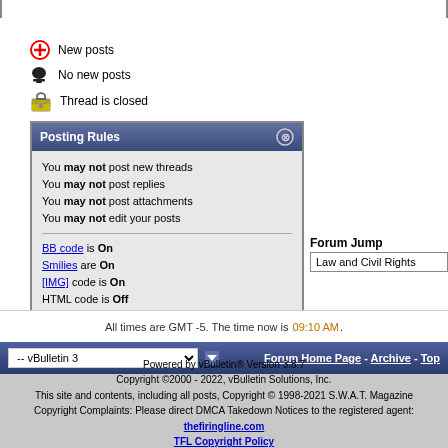New posts
No new posts
Thread is closed
Posting Rules
You may not post new threads
You may not post replies
You may not post attachments
You may not edit your posts
BB code is On
Smilies are On
[IMG] code is On
HTML code is Off
Forum Rules
Forum Jump
Law and Civil Rights
All times are GMT -5. The time now is 09:10 AM.
Powered by vBulletin® Version 3.8.7
Copyright ©2000 - 2022, vBulletin Solutions, Inc.
This site and contents, including all posts, Copyright © 1998-2021 S.W.A.T. Magazine
Copyright Complaints: Please direct DMCA Takedown Notices to the registered agent:
thefiringline.com
TFL Copyright Policy
Page generated in 0.41114 seconds with 13 queries